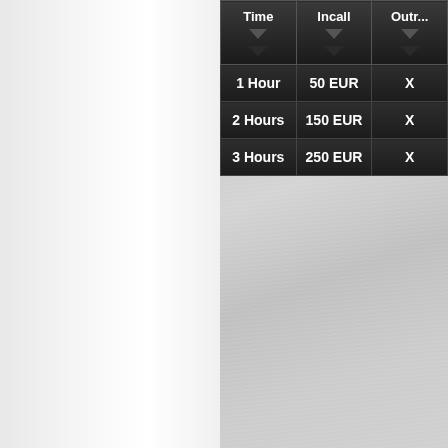| Time | Incall | Outr... |
| --- | --- | --- |
| 1 Hour | 50 EUR | X |
| 2 Hours | 150 EUR | X |
| 3 Hours | 250 EUR | X |